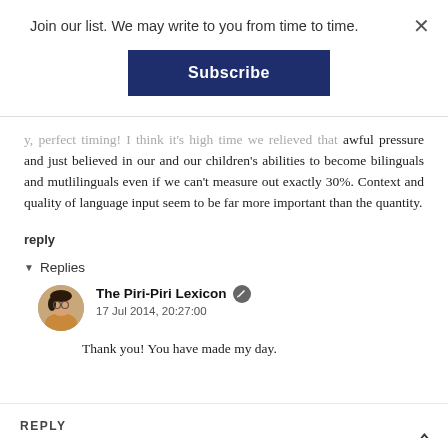Join our list. We may write to you from time to time.
[Figure (other): Subscribe button — dark navy blue rectangular button with white bold text 'Subscribe']
y, perfect timing! I think it's high time we relieved that awful pressure and just believed in our and our children's abilities to become bilinguals and mutlilinguals even if we can't measure out exactly 30%. Context and quality of language input seem to be far more important than the quantity.
reply
▾ Replies
The Piri-Piri Lexicon
17 Jul 2014, 20:27:00
Thank you! You have made my day.
REPLY